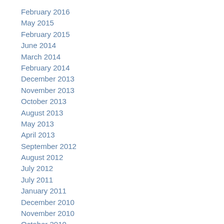February 2016
May 2015
February 2015
June 2014
March 2014
February 2014
December 2013
November 2013
October 2013
August 2013
May 2013
April 2013
September 2012
August 2012
July 2012
July 2011
January 2011
December 2010
November 2010
October 2010
June 2010